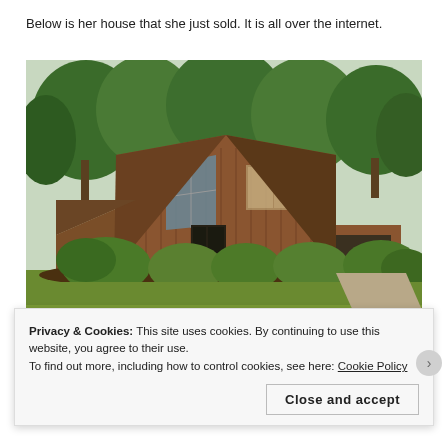Below is her house that she just sold. It is all over the internet.
[Figure (photo): Exterior photo of a mid-century modern style house with vertical cedar wood siding, angular rooflines, large glass windows, and surrounded by green trees and manicured shrubs on a lawn.]
Privacy & Cookies: This site uses cookies. By continuing to use this website, you agree to their use.
To find out more, including how to control cookies, see here: Cookie Policy
Close and accept